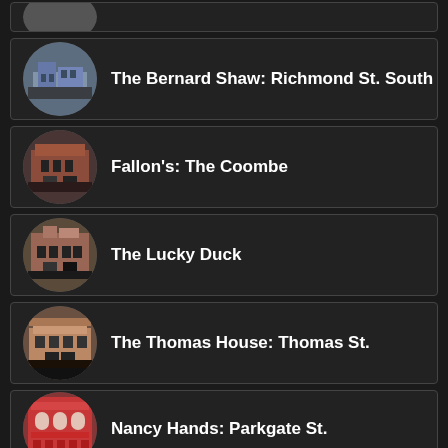The Bernard Shaw: Richmond St. South
Fallon's: The Coombe
The Lucky Duck
The Thomas House: Thomas St.
Nancy Hands: Parkgate St.